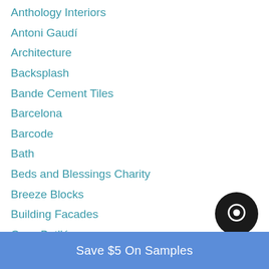Anthology Interiors
Antoni Gaudí
Architecture
Backsplash
Bande Cement Tiles
Barcelona
Barcode
Bath
Beds and Blessings Charity
Breeze Blocks
Building Facades
Casa Batlló
Catalunya
Save $5 On Samples